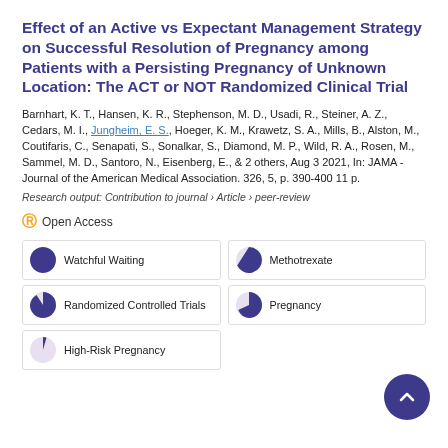Effect of an Active vs Expectant Management Strategy on Successful Resolution of Pregnancy among Patients with a Persisting Pregnancy of Unknown Location: The ACT or NOT Randomized Clinical Trial
Barnhart, K. T., Hansen, K. R., Stephenson, M. D., Usadi, R., Steiner, A. Z., Cedars, M. I., Jungheim, E. S., Hoeger, K. M., Krawetz, S. A., Mills, B., Alston, M., Coutifaris, C., Senapati, S., Sonalkar, S., Diamond, M. P., Wild, R. A., Rosen, M., Sammel, M. D., Santoro, N., Eisenberg, E., & 2 others, Aug 3 2021, In: JAMA - Journal of the American Medical Association. 326, 5, p. 390-400 11 p.
Research output: Contribution to journal › Article › peer-review
Open Access
Watchful Waiting
Methotrexate
Randomized Controlled Trials
Pregnancy
High-Risk Pregnancy